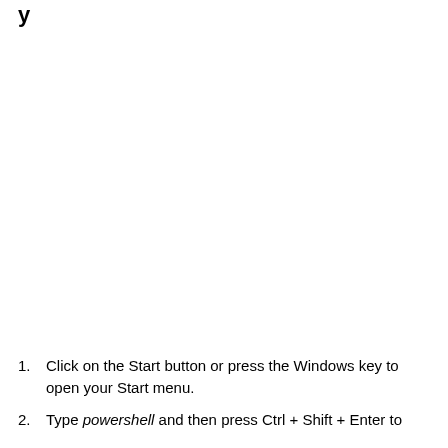y
Click on the Start button or press the Windows key to open your Start menu.
Type powershell and then press Ctrl + Shift + Enter to